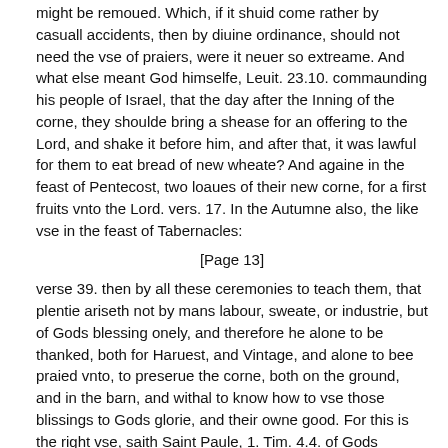might be remoued. Which, if it shuid come rather by casuall accidents, then by diuine ordinance, should not need the vse of praiers, were it neuer so extreame. And what else meant God himselfe, Leuit. 23.10. commaunding his people of Israel, that the day after the Inning of the corne, they shoulde bring a shease for an offering to the Lord, and shake it before him, and after that, it was lawful for them to eat bread of new wheate? And againe in the feast of Pentecost, two loaues of their new corne, for a first fruits vnto the Lord. vers. 17. In the Autumne also, the like vse in the feast of Tabernacles:
[Page 13]
verse 39. then by all these ceremonies to teach them, that plentie ariseth not by mans labour, sweate, or industrie, but of Gods blessing onely, and therefore he alone to be thanked, both for Haruest, and Vintage, and alone to bee praied vnto, to preserue the corne, both on the ground, and in the barn, and withal to know how to vse those blissings to Gods glorie, and their owne good. For this is the right vse, saith Saint Paule, 1. Tim. 4.4. of Gods creatures, to sanctifie them by praier and